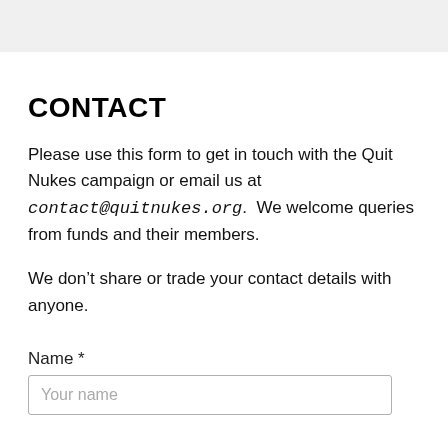CONTACT
Please use this form to get in touch with the Quit Nukes campaign or email us at contact@quitnukes.org.  We welcome queries from funds and their members.
We don’t share or trade your contact details with anyone.
Name *
Your name